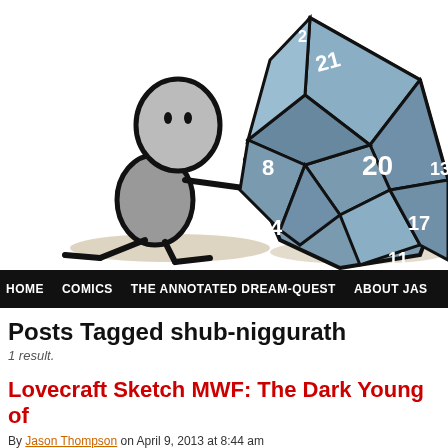[Figure (illustration): Cartoon illustration of a round stick figure pushing a large blue icosahedral die (d20) showing numbers including 21, 20, 8, 4, 17, 13, 2, 11. The figure has a grey oval head and body. The die is blue-grey with white numbers and black outlines.]
HOME  COMICS  THE ANNOTATED DREAM-QUEST  ABOUT JAS
Posts Tagged shub-niggurath
1 result.
Lovecraft Sketch MWF: The Dark Young of
By Jason Thompson on April 9, 2013 at 8:44 am